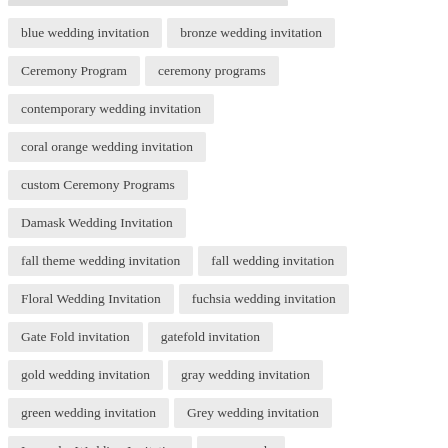blue wedding invitation
bronze wedding invitation
Ceremony Program
ceremony programs
contemporary wedding invitation
coral orange wedding invitation
custom Ceremony Programs
Damask Wedding Invitation
fall theme wedding invitation
fall wedding invitation
Floral Wedding Invitation
fuchsia wedding invitation
Gate Fold invitation
gatefold invitation
gold wedding invitation
gray wedding invitation
green wedding invitation
Grey wedding invitation
Lavender Wedding Invitation
menu cards